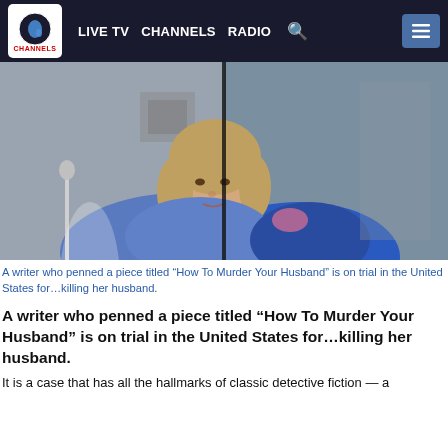LIVE TV   CHANNELS   RADIO
[Figure (photo): Woman in blue clothing seated, visible through glass partition, courtroom or legal setting]
A writer who penned a piece titled “How To Murder Your Husband” is on trial in the United States for…killing her husband.
A writer who penned a piece titled “How To Murder Your Husband” is on trial in the United States for…killing her husband.
It is a case that has all the hallmarks of classic detective fiction — a